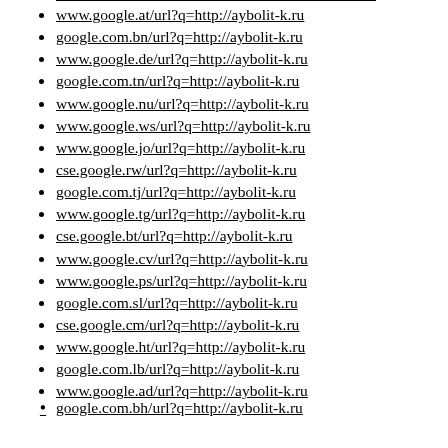www.google.at/url?q=http://aybolit-k.ru
google.com.bn/url?q=http://aybolit-k.ru
www.google.de/url?q=http://aybolit-k.ru
google.com.tn/url?q=http://aybolit-k.ru
www.google.nu/url?q=http://aybolit-k.ru
www.google.ws/url?q=http://aybolit-k.ru
www.google.jo/url?q=http://aybolit-k.ru
cse.google.rw/url?q=http://aybolit-k.ru
google.com.tj/url?q=http://aybolit-k.ru
www.google.tg/url?q=http://aybolit-k.ru
cse.google.bt/url?q=http://aybolit-k.ru
www.google.cv/url?q=http://aybolit-k.ru
www.google.ps/url?q=http://aybolit-k.ru
google.com.sl/url?q=http://aybolit-k.ru
cse.google.cm/url?q=http://aybolit-k.ru
www.google.ht/url?q=http://aybolit-k.ru
google.com.lb/url?q=http://aybolit-k.ru
www.google.ad/url?q=http://aybolit-k.ru
google.com.bh/url?q=http://aybolit-k.ru